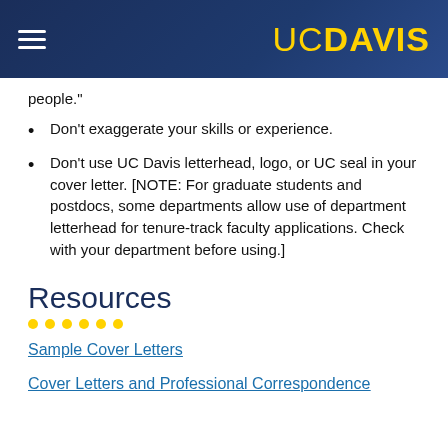UC DAVIS
people."
Don't exaggerate your skills or experience.
Don't use UC Davis letterhead, logo, or UC seal in your cover letter. [NOTE: For graduate students and postdocs, some departments allow use of department letterhead for tenure-track faculty applications. Check with your department before using.]
Resources
Sample Cover Letters
Cover Letters and Professional Correspondence